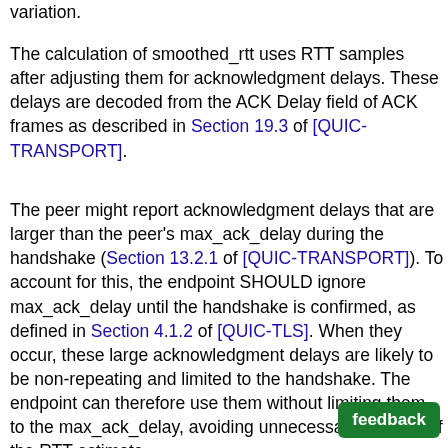variation.
The calculation of smoothed_rtt uses RTT samples after adjusting them for acknowledgment delays. These delays are decoded from the ACK Delay field of ACK frames as described in Section 19.3 of [QUIC-TRANSPORT].
The peer might report acknowledgment delays that are larger than the peer's max_ack_delay during the handshake (Section 13.2.1 of [QUIC-TRANSPORT]). To account for this, the endpoint SHOULD ignore max_ack_delay until the handshake is confirmed, as defined in Section 4.1.2 of [QUIC-TLS]. When they occur, these large acknowledgment delays are likely to be non-repeating and limited to the handshake. The endpoint can therefore use them without limiting them to the max_ack_delay, avoiding unnecessary inflation of the RTT estimate.